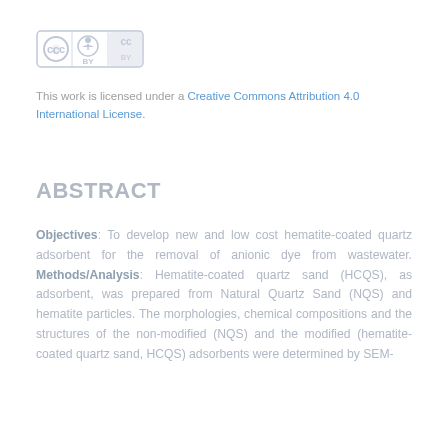[Figure (logo): Creative Commons BY license logo badge]
This work is licensed under a Creative Commons Attribution 4.0 International License.
ABSTRACT
Objectives: To develop new and low cost hematite-coated quartz adsorbent for the removal of anionic dye from wastewater. Methods/Analysis: Hematite-coated quartz sand (HCQS), as adsorbent, was prepared from Natural Quartz Sand (NQS) and hematite particles. The morphologies, chemical compositions and the structures of the non-modified (NQS) and the modified (hematite-coated quartz sand, HCQS) adsorbents were determined by SEM-